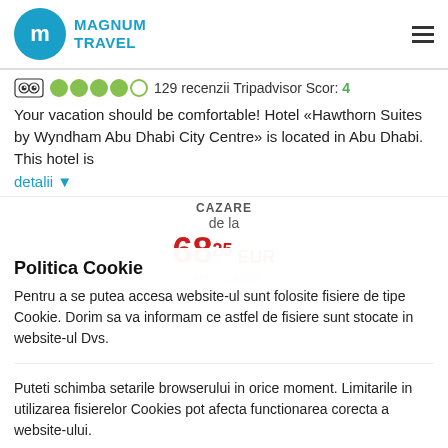MAGNUM TRAVEL
129 recenzii Tripadvisor Scor: 4
Your vacation should be comfortable! Hotel «Hawthorn Suites by Wyndham Abu Dhabi City Centre» is located in Abu Dhabi. This hotel is
detalii ▾
CAZARE
de la
68 25 EUR
pentru 2 adulti
Politica Cookie
Pentru a se putea accesa website-ul sunt folosite fisiere de tipe Cookie. Dorim sa va informam ce astfel de fisiere sunt stocate in website-ul Dvs.
Puteti schimba setarile browserului in orice moment. Limitarile in utilizarea fisierelor Cookies pot afecta functionarea corecta a website-ului.
Sunt de acord